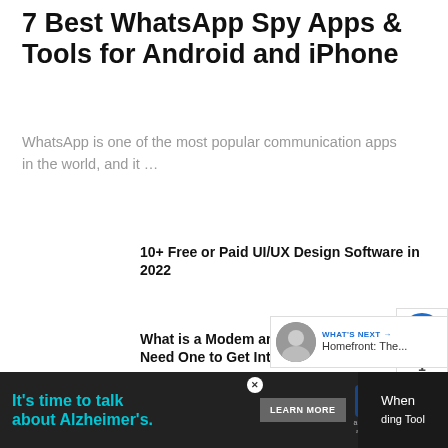7 Best WhatsApp Spy Apps & Tools for Android and iPhone
WhatsApp is one of the most popular communication apps in the world, and it …
10+ Free or Paid UI/UX Design Software in 2022
What is a Modem and Why Do You Need One to Get Internet?
Top Non-Celebrity Instagram Influencers
[Figure (infographic): Sidebar widget with heart/like icon showing count 1 and a scroll-to-top pink button]
[Figure (infographic): What's Next widget showing a thumbnail image and text: WHAT'S NEXT → Homefront: The...]
[Figure (infographic): Ad banner at bottom: It's time to talk about Alzheimer's. LEARN MORE. Alzheimer's Association logo. Close button. Partial right-side content showing When and Tool text.]